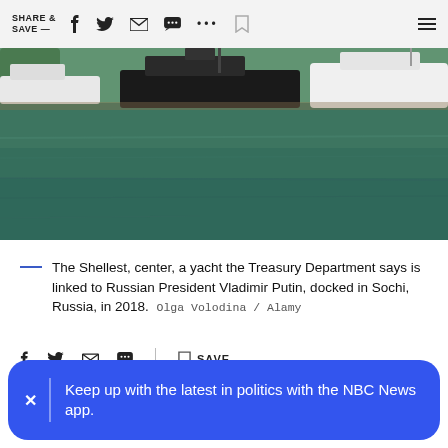SHARE & SAVE —
[Figure (photo): Yachts docked at a marina with teal/green water in the foreground — The Shellest yacht center frame, Sochi, Russia, 2018]
The Shellest, center, a yacht the Treasury Department says is linked to Russian President Vladimir Putin, docked in Sochi, Russia, in 2018.  Olga Volodina / Alamy
[Figure (other): Social sharing icon bar with Facebook, Twitter, email, message icons, divider, bookmark and SAVE label]
Keep up with the latest in politics with the NBC News app.